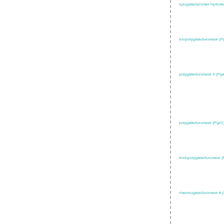xylogalacturonan hydrolase
exopolygalacturonase (Pga...)
polygalacturonase II (Pgal...)
polygalacturonase (Pgn1)
endopolygalacturonase (P...)
rhamnogalacturonase A (R...)
endopolygalacturonase 1
endopolygalacturonase 2
endopolygalacturonase 3
endopolygalacturonase 4
endopolygalacturonase 5
endopolygalacturonase 6
endopolygalacturonase I (...)
polygalacturonase (EpgA)